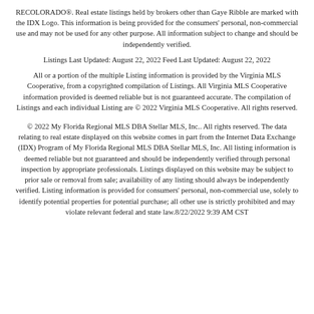RECOLORADO®. Real estate listings held by brokers other than Gaye Ribble are marked with the IDX Logo. This information is being provided for the consumers' personal, non-commercial use and may not be used for any other purpose. All information subject to change and should be independently verified.
Listings Last Updated: August 22, 2022 Feed Last Updated: August 22, 2022
All or a portion of the multiple Listing information is provided by the Virginia MLS Cooperative, from a copyrighted compilation of Listings. All Virginia MLS Cooperative information provided is deemed reliable but is not guaranteed accurate. The compilation of Listings and each individual Listing are © 2022 Virginia MLS Cooperative. All rights reserved.
© 2022 My Florida Regional MLS DBA Stellar MLS, Inc.. All rights reserved. The data relating to real estate displayed on this website comes in part from the Internet Data Exchange (IDX) Program of My Florida Regional MLS DBA Stellar MLS, Inc. All listing information is deemed reliable but not guaranteed and should be independently verified through personal inspection by appropriate professionals. Listings displayed on this website may be subject to prior sale or removal from sale; availability of any listing should always be independently verified. Listing information is provided for consumers' personal, non-commercial use, solely to identify potential properties for potential purchase; all other use is strictly prohibited and may violate relevant federal and state law.8/22/2022 9:39 AM CST